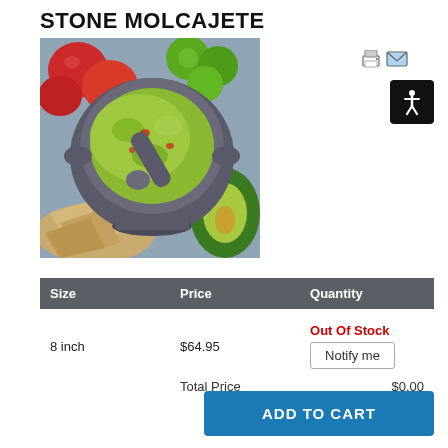STONE MOLCAJETE
[Figure (photo): Top-down photo of a stone molcajete (mortar and pestle) filled with guacamole, surrounded by tomatoes, limes, avocado, and tortilla chips on a wooden surface.]
| Size | Price | Quantity |
| --- | --- | --- |
| 8 inch | $64.95 | Out Of Stock / Notify me |
|  | Total Price | $0.00 |
ADD TO CART